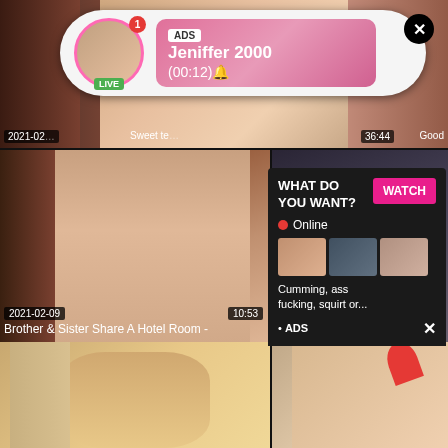[Figure (screenshot): Adult video website screenshot with multiple video thumbnails in a grid layout]
ADS
Jeniffer 2000
(00:12)🔔
LIVE
WHAT DO YOU WANT?
WATCH
● Online
Cumming, ass fucking, squirt or...
• ADS
2021-02-09
10:53
Brother & Sister Share A Hotel Room -
2021-02-11
6:00
Petite Schizo Deepthroats 3 Cocks
2021-02
Sweet te
36:44
Good
FACIALABUSE.COM